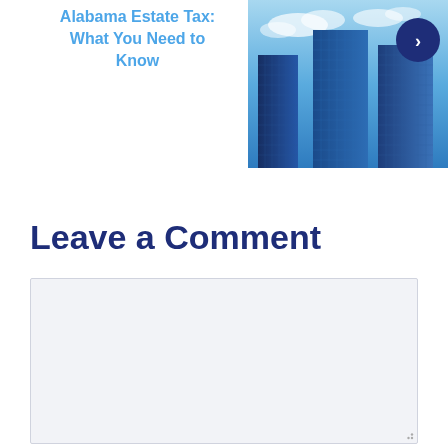[Figure (illustration): Article preview tile with blue text title 'Alabama Estate Tax: What You Need to Know' on the left, and a photo of blue glass skyscrapers on the right with a dark navy circular arrow/chevron navigation button overlaid in the top right corner.]
Leave a Comment
[Comment text area — empty input box]